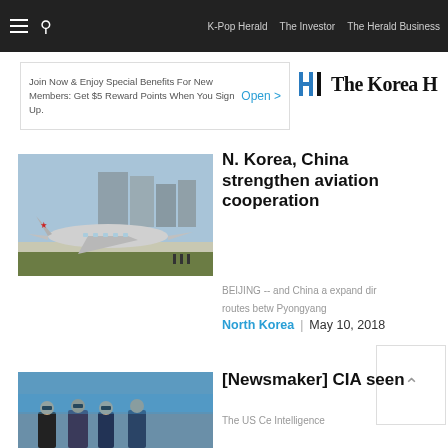K-Pop Herald  The Investor  The Herald Business
[Figure (screenshot): Advertisement banner: Join Now & Enjoy Special Benefits For New Members: Get $5 Reward Points When You Sign Up. Open >]
[Figure (logo): The Korea Herald logo with stylized H icon]
[Figure (photo): North Korean airplane on a runway with buildings in the background]
N. Korea, China strengthen aviation cooperation
BEIJING -- and China a expand dir routes betw Pyongyang
North Korea  |  May 10, 2018
[Figure (photo): People in outdoor scene, partial image of article about CIA]
[Newsmaker] CIA seen
The US Ce Intelligence